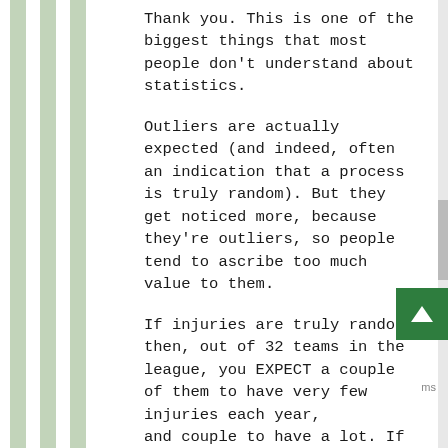Thank you. This is one of the biggest things that most people don't understand about statistics.
Outliers are actually expected (and indeed, often an indication that a process is truly random). But they get noticed more, because they're outliers, so people tend to ascribe too much value to them.
If injuries are truly random, then, out of 32 teams in the league, you EXPECT a couple of them to have very few injuries each year, and a couple to have a lot. If every team had close to the average number of injuries, this would be evidence that something systematic was